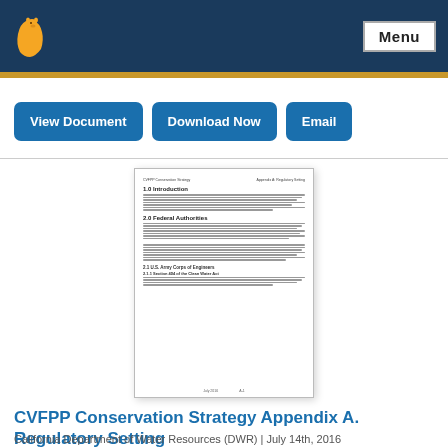California state government website header with logo and Menu button
[Figure (screenshot): Three blue action buttons: View Document, Download Now, Email]
[Figure (screenshot): Thumbnail preview of a government document page titled CVFPP Conservation Strategy Appendix A. Regulatory Setting, showing sections 1.0 Introduction, 2.0 Federal Authorities, and 2.1 U.S. Army Corps of Engineers]
CVFPP Conservation Strategy Appendix A. Regulatory Setting
California Department of Water Resources (DWR) | July 14th, 2016